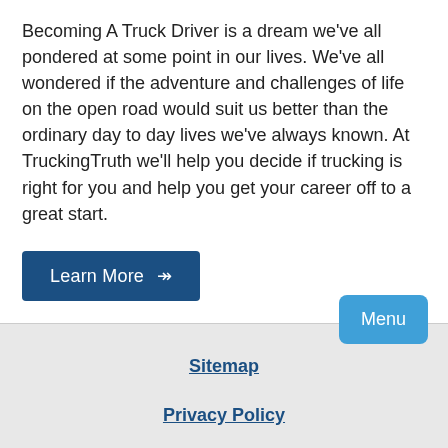Becoming A Truck Driver is a dream we've all pondered at some point in our lives. We've all wondered if the adventure and challenges of life on the open road would suit us better than the ordinary day to day lives we've always known. At TruckingTruth we'll help you decide if trucking is right for you and help you get your career off to a great start.
Learn More →→
Sitemap
Privacy Policy
Contact Us
TT On Facebook
Menu